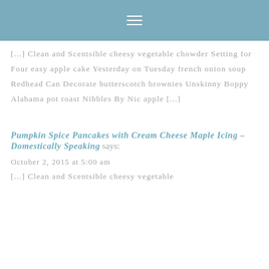≡
[...] Clean and Scentsible cheesy vegetable chowder Setting for Four easy apple cake Yesterday on Tuesday french onion soup Redhead Can Decorate butterscotch brownies Unskinny Boppy Alabama pot roast Nibbles By Nic apple [...]
Pumpkin Spice Pancakes with Cream Cheese Maple Icing – Domestically Speaking says:
October 2, 2015 at 5:00 am
[...] Clean and Scentsible cheesy vegetable